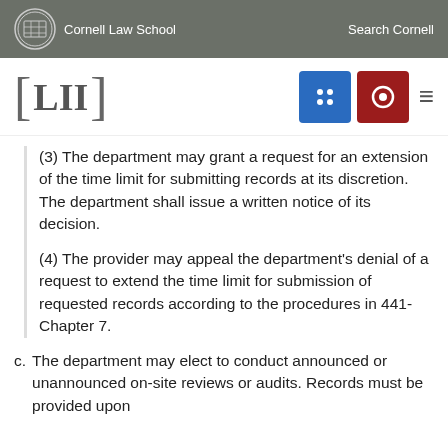Cornell Law School  Search Cornell
(3) The department may grant a request for an extension of the time limit for submitting records at its discretion. The department shall issue a written notice of its decision.
(4) The provider may appeal the department's denial of a request to extend the time limit for submission of requested records according to the procedures in 441-Chapter 7.
c. The department may elect to conduct announced or unannounced on-site reviews or audits. Records must be provided upon